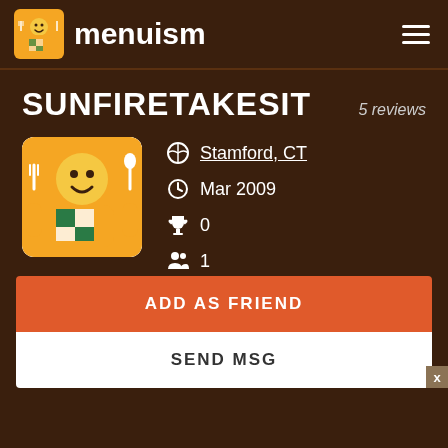menuism
SUNFIRETAKESIT
5 reviews
[Figure (logo): Menuism mascot avatar — orange cartoon character with fork and spoon, checkered shirt, white background]
Stamford, CT
Mar 2009
0
1
5
ADD AS FRIEND
SEND MSG